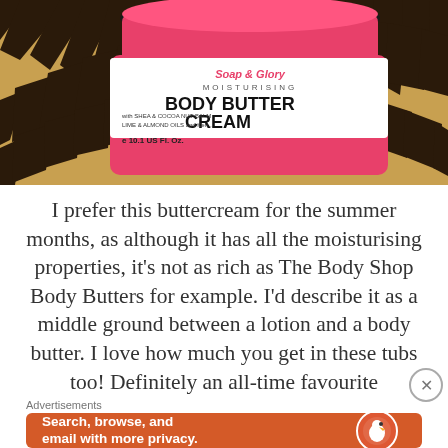[Figure (photo): Photo of a Soap & Glory Body Buttercream jar with pink lid sitting on a zebra-print surface. The label reads 'BODY BUTTERCREAM' with 'MOISTURE' and '10.1 US FL. OZ.' visible.]
I prefer this buttercream for the summer months, as although it has all the moisturising properties, it's not as rich as The Body Shop Body Butters for example. I'd describe it as a middle ground between a lotion and a body butter. I love how much you get in these tubs too! Definitely an all-time favourite
Advertisements
[Figure (screenshot): DuckDuckGo advertisement banner. Orange background with text 'Search, browse, and email with more privacy. All in One Free App' on the left side, and a phone mockup showing the DuckDuckGo app with logo and 'DuckDuckGo.' text on the right side.]